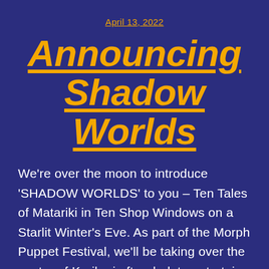April 13, 2022
Announcing Shadow Worlds
We're over the moon to introduce 'SHADOW WORLDS' to you – Ten Tales of Matariki in Ten Shop Windows on a Starlit Winter's Eve. As part of the Morph Puppet Festival, we'll be taking over the centre of Kerikeri after dark to entertain our